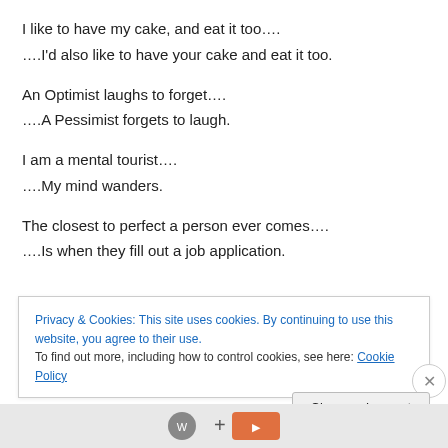I like to have my cake, and eat it too....
....I’d also like to have your cake and eat it too.
An Optimist laughs to forget....
....A Pessimist forgets to laugh.
I am a mental tourist....
....My mind wanders.
The closest to perfect a person ever comes....
....Is when they fill out a job application.
Privacy & Cookies: This site uses cookies. By continuing to use this website, you agree to their use.
To find out more, including how to control cookies, see here: Cookie Policy
Close and accept